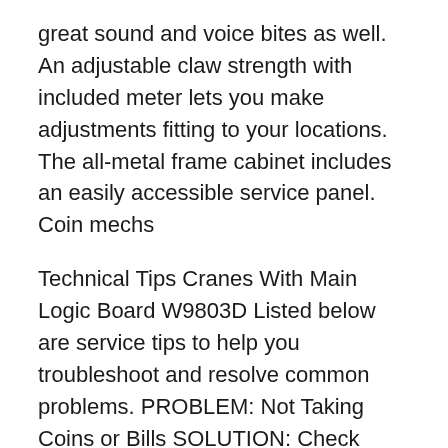great sound and voice bites as well. An adjustable claw strength with included meter lets you make adjustments fitting to your locations. The all-metal frame cabinet includes an easily accessible service panel. Coin mechs
Technical Tips Cranes With Main Logic Board W9803D Listed below are service tips to help you troubleshoot and resolve common problems. PROBLEM: Not Taking Coins or Bills SOLUTION: Check connector J-8; the IC is a 74HC244 in position U-22. Plush Bus Crane Manual Plush Crane Arcade CLAW MACHINE with TOYS Toy Taxi by Coast To Coast. $1,400.00 ICE Games Arcade Plush Bus Crane Lime Green Very Good Condition. $1,495.00 PLUSH BUS CRANE ICE